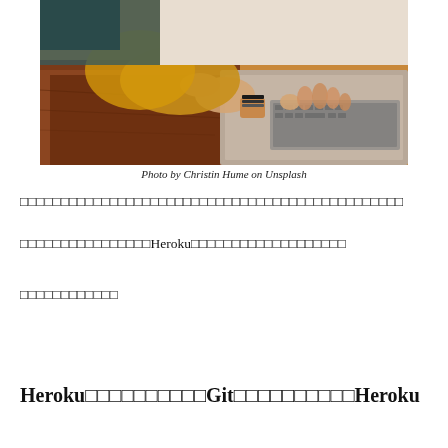[Figure (photo): Person wearing yellow sweater typing on a laptop placed on a wooden surface, viewed from above at an angle.]
Photo by Christin Hume on Unsplash
□□□□□□□□□□□□□□□□□□□□□□□□□□□□□□□□□□□□□□□□□□□□□□□□□
□□□□□□□□□□□□□□□□Heroku□□□□□□□□□□□□□□□□□□□
□□□□□□□□□□□□
Heroku□□□□□□□□□□Git□□□□□□□□□□Heroku